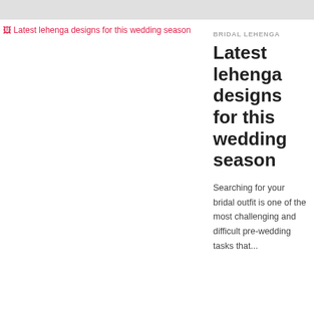[Figure (photo): Broken image placeholder for 'Latest lehenga designs for this wedding season']
BRIDAL LEHENGA
Latest lehenga designs for this wedding season
Searching for your bridal outfit is one of the most challenging and difficult pre-wedding tasks that...